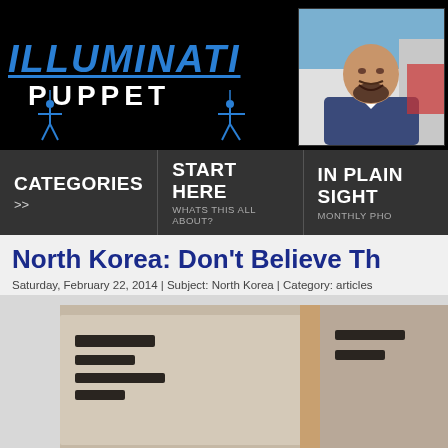[Figure (logo): Illuminati Puppet website logo with blue italic text 'ILLUMINATI' underlined, white bold text 'PUPPET', and blue puppet figure silhouettes on black background]
[Figure (photo): Headshot of a smiling bald man with a beard wearing a suit, against an outdoor background]
CATEGORIES >> | START HERE WHATS THIS ALL ABOUT? | IN PLAIN SIGHT MONTHLY PHO
North Korea: Don't Believe Th
Saturday, February 22, 2014 | Subject: North Korea | Category: articles
[Figure (photo): Partial image of what appears to be printed material or a book with dark markings, cropped at the bottom of the page]